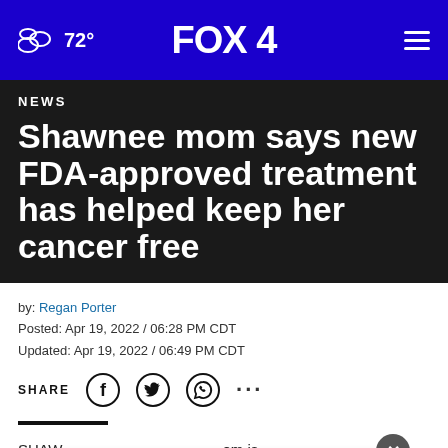72° FOX 4
NEWS
Shawnee mom says new FDA-approved treatment has helped keep her cancer free
by: Regan Porter
Posted: Apr 19, 2022 / 06:28 PM CDT
Updated: Apr 19, 2022 / 06:49 PM CDT
SHARE
SHAW... om is seven... al trial
[Figure (screenshot): Ad banner: Up To $75 Off on Goodyear Tires at Virginia Tire & Auto]